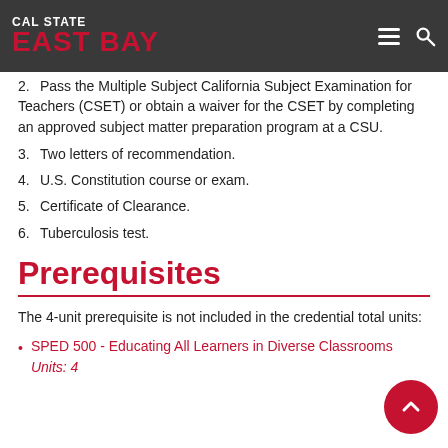Cal State East Bay navigation header
2. Pass the Multiple Subject California Subject Examination for Teachers (CSET) or obtain a waiver for the CSET by completing an approved subject matter preparation program at a CSU.
3. Two letters of recommendation.
4. U.S. Constitution course or exam.
5. Certificate of Clearance.
6. Tuberculosis test.
Prerequisites
The 4-unit prerequisite is not included in the credential total units:
SPED 500 - Educating All Learners in Diverse Classrooms Units: 4